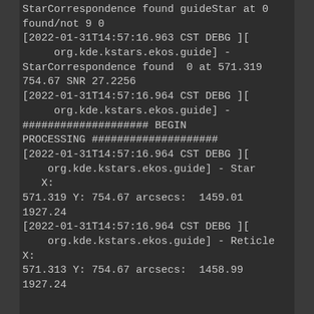StarCorrespondence found guideStar at 0 found/not 9 0
[2022-01-31T14:57:16.963 CST DEBG ][ org.kde.kstars.ekos.guide] - StarCorrespondence found  0 at 571.319 754.67 SNR 27.2256
[2022-01-31T14:57:16.964 CST DEBG ][ org.kde.kstars.ekos.guide] - #################### BEGIN PROCESSING ####################
[2022-01-31T14:57:16.964 CST DEBG ][ org.kde.kstars.ekos.guide] - Star    X: 571.319 Y: 754.67 arcsecs:  1459.01 1927.24
[2022-01-31T14:57:16.964 CST DEBG ][ org.kde.kstars.ekos.guide] - Reticle X: 571.313 Y: 754.67 arcsecs:  1458.99 1927.24